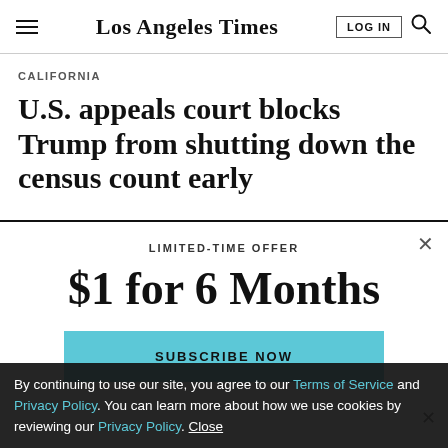Los Angeles Times
CALIFORNIA
U.S. appeals court blocks Trump from shutting down the census count early
LIMITED-TIME OFFER
$1 for 6 Months
SUBSCRIBE NOW
By continuing to use our site, you agree to our Terms of Service and Privacy Policy. You can learn more about how we use cookies by reviewing our Privacy Policy. Close